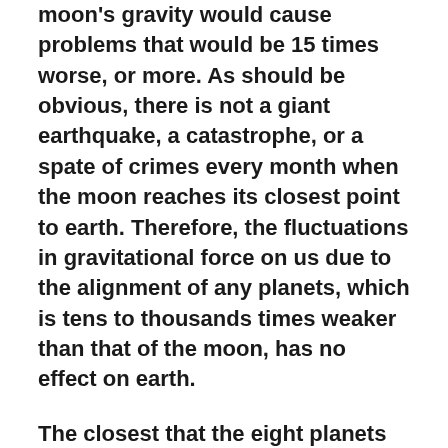moon's gravity would cause problems that would be 15 times worse, or more. As should be obvious, there is not a giant earthquake, a catastrophe, or a spate of crimes every month when the moon reaches its closest point to earth. Therefore, the fluctuations in gravitational force on us due to the alignment of any planets, which is tens to thousands times weaker than that of the moon, has no effect on earth.
The closest that the eight planets will come to being aligned (Pluto is now considered a dwarf planet) will occur on May 6, 2492. Again, on this date, the planets will not be situated along a line. Rather, they will be in the same 180-degree-wide patch of sky, as shown in the image below.
The closest the eight planets will come to being